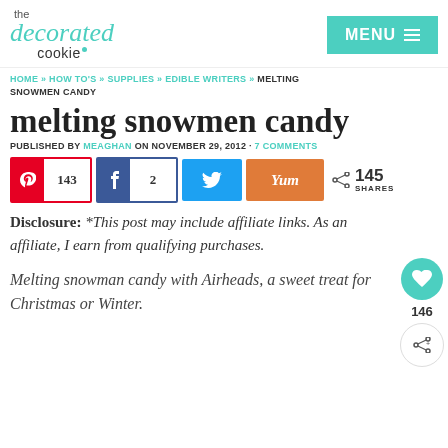the decorated cookie
HOME » HOW TO'S » SUPPLIES » EDIBLE WRITERS » MELTING SNOWMEN CANDY
melting snowmen candy
PUBLISHED BY MEAGHAN ON NOVEMBER 29, 2012 · 7 COMMENTS
Pinterest 143, Facebook 2, Twitter, Yummly, 145 SHARES
Disclosure: *This post may include affiliate links. As an affiliate, I earn from qualifying purchases.
Melting snowman candy with Airheads, a sweet treat for Christmas or Winter.